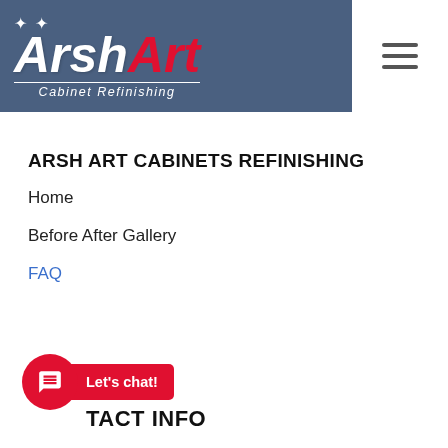[Figure (logo): Arsh Art Cabinet Refinishing logo on dark blue-gray header background with hamburger menu icon on white box]
ARSH ART CABINETS REFINISHING
Home
Before After Gallery
FAQ
Let's chat!
TACT INFO